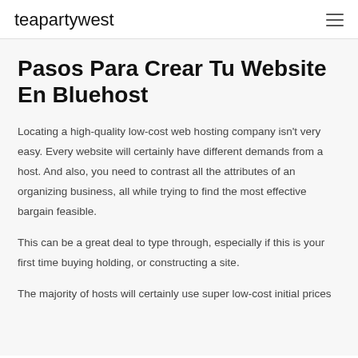teapartywest
Pasos Para Crear Tu Website En Bluehost
Locating a high-quality low-cost web hosting company isn't very easy. Every website will certainly have different demands from a host. And also, you need to contrast all the attributes of an organizing business, all while trying to find the most effective bargain feasible.
This can be a great deal to type through, especially if this is your first time buying holding, or constructing a site.
The majority of hosts will certainly use super low-cost initial prices